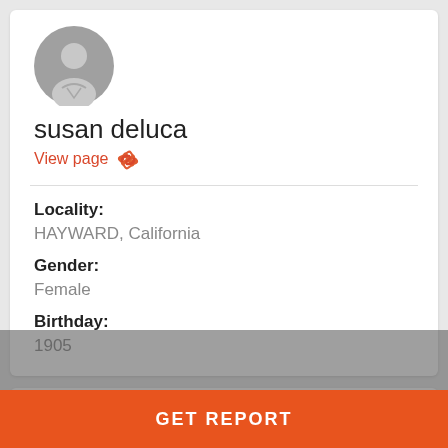[Figure (illustration): Gray circular avatar/profile placeholder icon with person silhouette]
susan deluca
View page
Locality:
HAYWARD, California
Gender:
Female
Birthday:
1905
[Figure (illustration): Gray circular avatar/profile placeholder icon with person silhouette (second card, partially visible)]
susan deluca
GET REPORT